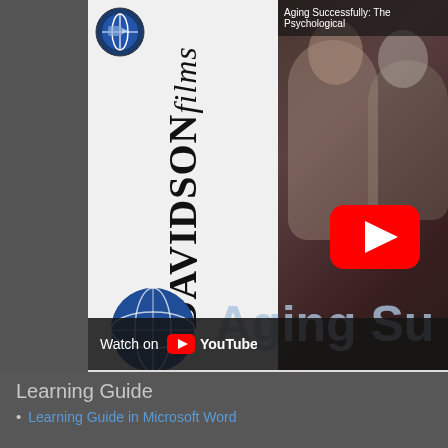[Figure (screenshot): YouTube video thumbnail for 'Aging Successfully: The Psychological...' showing Davidson Films logo rotated on left white panel, two people sitting together on right, YouTube play button overlay, 'Watch on YouTube' bar at bottom, and 'Aging Su' text overlay at bottom right.]
Learning Guide
Learning Guide in Microsoft Word